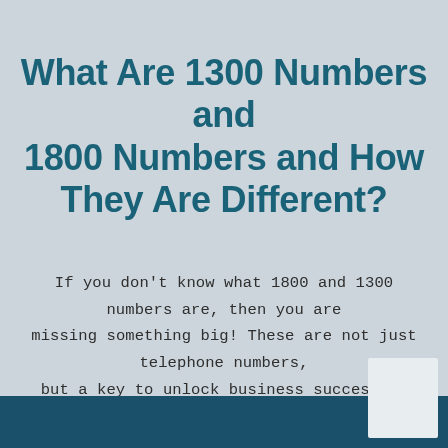What Are 1300 Numbers and 1800 Numbers and How They Are Different?
If you don't know what 1800 and 1300 numbers are, then you are missing something big! These are not just telephone numbers, but a key to unlock business success by setting your business apart from the competitors as your audience can identify your business through a unique number.